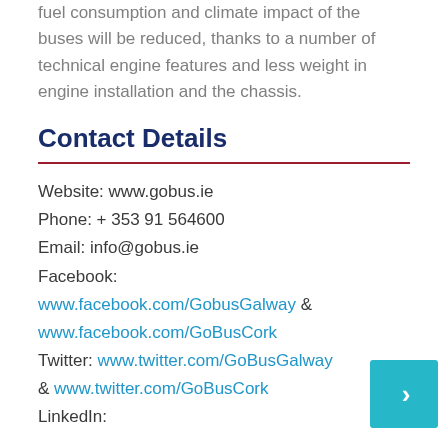fuel consumption and climate impact of the buses will be reduced, thanks to a number of technical engine features and less weight in engine installation and the chassis.
Contact Details
Website: www.gobus.ie
Phone: + 353 91 564600
Email: info@gobus.ie
Facebook: www.facebook.com/GobusGalway & www.facebook.com/GoBusCork
Twitter: www.twitter.com/GoBusGalway & www.twitter.com/GoBusCork
LinkedIn: